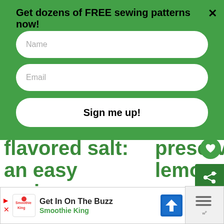Get dozens of FREE sewing patterns now!
Name
Email
Sign me up!
flavored salt: an easy recipe
preserved lemons
WHAT'S NEXT → Pencil Bag Sewing...
[Figure (photo): Person with dark curly hair and glasses, partially visible in a circular crop]
Get In On The Buzz Smoothie King